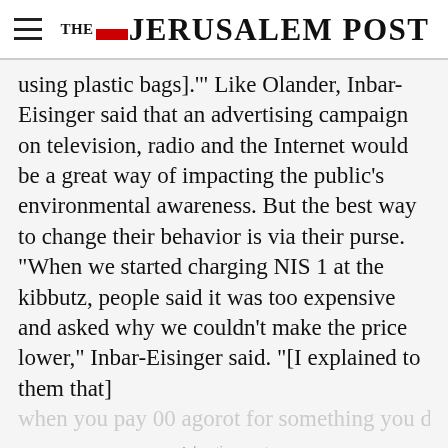THE JERUSALEM POST
using plastic bags].'" Like Olander, Inbar-Eisinger said that an advertising campaign on television, radio and the Internet would be a great way of impacting the public's environmental awareness. But the best way to change their behavior is via their purse. "When we started charging NIS 1 at the kibbutz, people said it was too expensive and asked why we couldn't make the price lower," Inbar-Eisinger said. "[I explained to them that] when you pay 00 agorot for something you don't
Advertisement